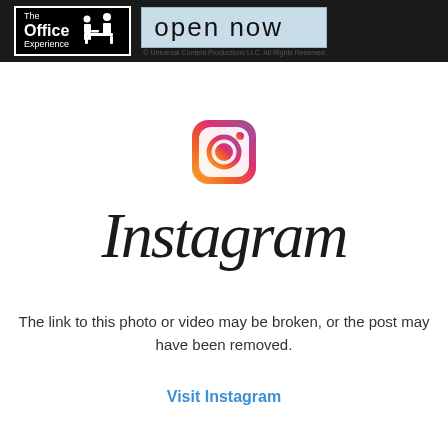[Figure (logo): The Office Experience logo with 'open now' text and copyright notice on dark header bar]
[Figure (logo): Instagram icon (camera icon with gradient border) and Instagram wordmark in script font]
The link to this photo or video may be broken, or the post may have been removed.
Visit Instagram